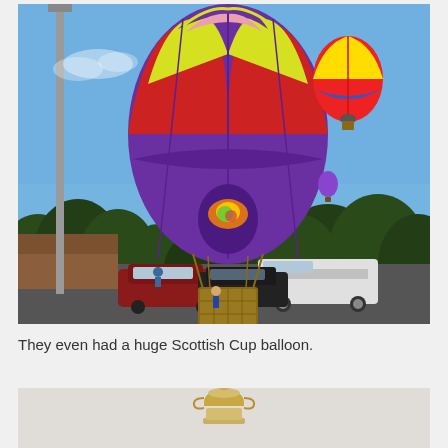[Figure (photo): Hot air balloons in flight over a parking lot with trees in background. A large colorful balloon with red, purple, yellow, blue, and green checkered pattern dominates the foreground. A smaller red, yellow, blue balloon is visible upper right. Another small purple balloon is visible in the distance. Parked cars and a white campervan below, with dark green trees and a building in the background. Blue sky with light clouds. A street lamp pole is visible on the left.]
They even had a huge Scottish Cup balloon.
[Figure (photo): Partial view of what appears to be a trophy or cup sculpture against a light sky background.]